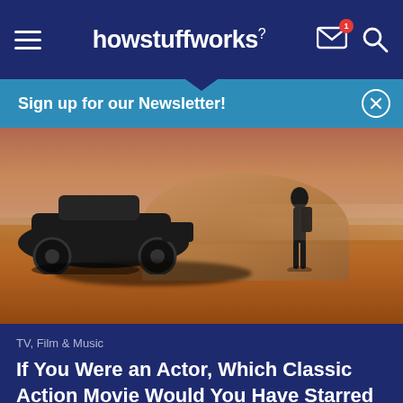howstuffworks
Sign up for our Newsletter!
[Figure (photo): Desert scene with a car and a person standing near it in a post-apocalyptic setting, sandy orange/brown landscape]
TV, Film & Music
If You Were an Actor, Which Classic Action Movie Would You Have Starred In?
[Figure (photo): Partial view of an explosion or fire scene, orange and yellow flames]